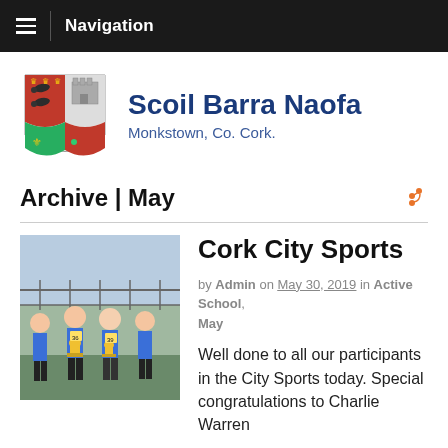Navigation
Scoil Barra Naofa
Monkstown, Co. Cork.
Archive | May
[Figure (photo): Photo of young female students in athletic uniforms holding trophies, standing in front of a fence outdoors.]
Cork City Sports
by Admin on May 30, 2019 in Active School, May
Well done to all our participants in the City Sports today. Special congratulations to Charlie Warren